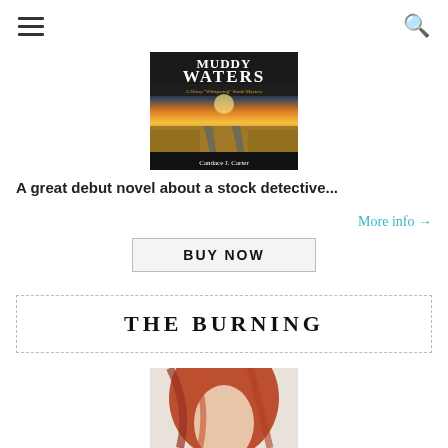☰   🔍
[Figure (illustration): Book cover for 'Muddy Waters: A Henry Whispering Smith Mystery' by Candace J. Carter, featuring a dirt road with tire tracks reflecting water leading into a golden prairie under a dramatic sunset sky.]
A great debut novel about a stock detective...
More info →
[Figure (other): BUY NOW button with light gray background and dark border]
THE BURNING
[Figure (photo): Partial image of a person with red/auburn hair, bottom portion visible at page edge]